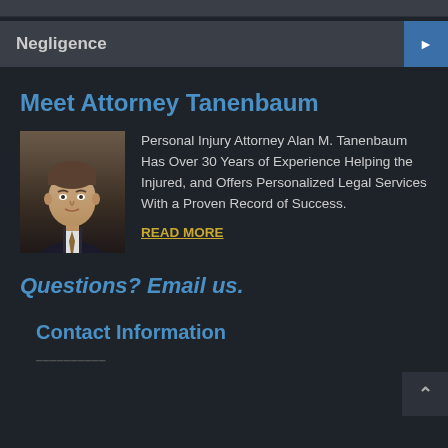Negligence
Meet Attorney Tanenbaum
[Figure (photo): Headshot photo of Attorney Alan M. Tanenbaum in a dark suit with tie]
Personal Injury Attorney Alan M. Tanenbaum Has Over 30 Years of Experience Helping the Injured, and Offers Personalized Legal Services With a Proven Record of Success.
READ MORE
Questions? Email us.
Contact Information